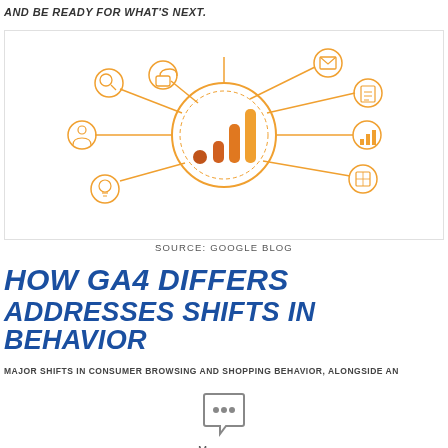AND BE READY FOR WHAT'S NEXT.
[Figure (illustration): Google Analytics 4 logo/icon in the center of a circular diagram with connecting lines to smaller icons (lock, search, person, lightbulb, email, document, analytics, grid) arranged around it in an orange/amber color scheme.]
SOURCE: GOOGLE BLOG
HOW GA4 DIFFERS ADDRESSES SHIFTS IN BEHAVIOR
MAJOR SHIFTS IN CONSUMER BROWSING AND SHOPPING BEHAVIOR, ALONGSIDE AN
[Figure (illustration): Messages app icon with speech bubble containing three dots, labeled 'Messages']